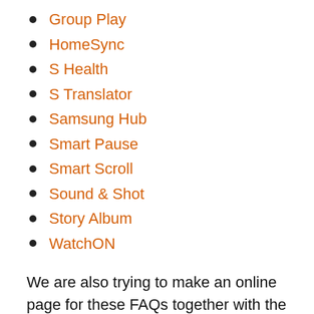Group Play
HomeSync
S Health
S Translator
Samsung Hub
Smart Pause
Smart Scroll
Sound & Shot
Story Album
WatchON
We are also trying to make an online page for these FAQs together with the User Guide. Once this is done by the end of this month,